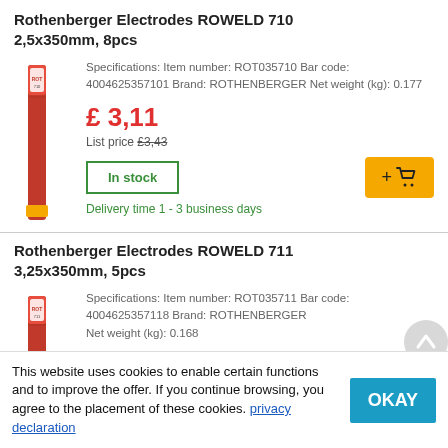Rothenberger Electrodes ROWELD 710 2,5x350mm, 8pcs
Specifications: Item number: ROT035710 Bar code: 4004625357101 Brand: ROTHENBERGER Net weight (kg): 0.177
£ 3,11
List price £3,43
In stock
Delivery time 1 - 3 business days
[Figure (photo): Red product packaging for Rothenberger Electrodes ROWELD 710]
Rothenberger Electrodes ROWELD 711 3,25x350mm, 5pcs
Specifications: Item number: ROT035711 Bar code: 4004625357118 Brand: ROTHENBERGER Net weight (kg): 0.168
[Figure (photo): Red product packaging for Rothenberger Electrodes ROWELD 711]
This website uses cookies to enable certain functions and to improve the offer. If you continue browsing, you agree to the placement of these cookies. privacy declaration